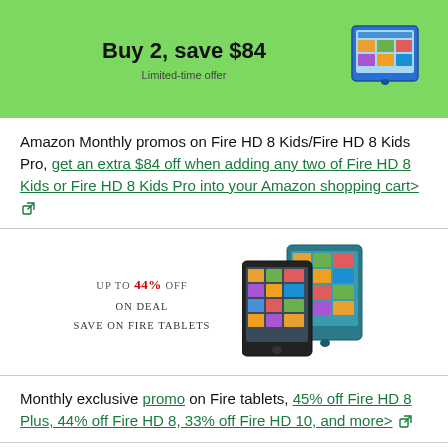[Figure (infographic): Green banner with bold text 'Buy 2, save $84' and 'Limited-time offer' subtitle, with a Fire HD 8 Kids tablet image on the right]
Amazon Monthly promos on Fire HD 8 Kids/Fire HD 8 Kids Pro, get an extra $84 off when adding any two of Fire HD 8 Kids or Fire HD 8 Kids Pro into your Amazon shopping cart>
[Figure (infographic): Promotional image showing 'Up to 44% off On deal Save on Fire Tablets' with two Amazon Fire tablets shown in teal/blue color]
Monthly exclusive promo on Fire tablets, 45% off Fire HD 8 Plus, 44% off Fire HD 8, 33% off Fire HD 10, and more>